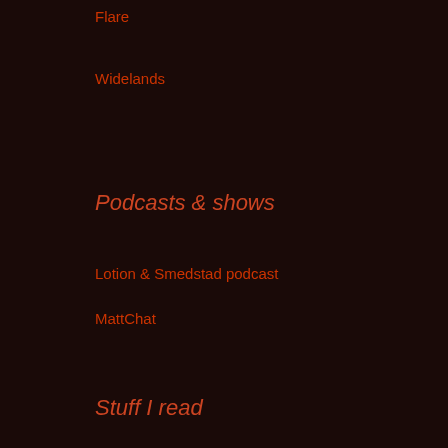Flare
Widelands
Podcasts & shows
Lotion & Smedstad podcast
MattChat
Stuff I read
Order of the Stick
Planet Debian
Planet Ubuntu
Reddit/Fantasy